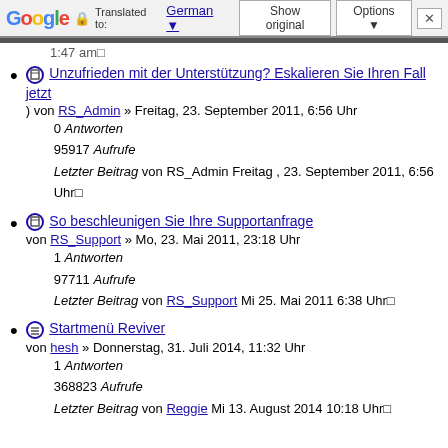Google Translate bar: Translated to: German | Show original | Options | X
1:47 am↵
Unzufrieden mit der Unterstützung? Eskalieren Sie Ihren Fall jetzt
von RS_Admin » Freitag, 23. September 2011, 6:56 Uhr
0 Antworten
95917 Aufrufe
Letzter Beitrag von RS_Admin Freitag , 23. September 2011, 6:56 Uhr↵
So beschleunigen Sie Ihre Supportanfrage
von RS_Support » Mo, 23. Mai 2011, 23:18 Uhr
1 Antworten
97711 Aufrufe
Letzter Beitrag von RS_Support Mi 25. Mai 2011 6:38 Uhr↵
Startmenü Reviver
von hesh » Donnerstag, 31. Juli 2014, 11:32 Uhr
1 Antworten
368823 Aufrufe
Letzter Beitrag von Reggie Mi 13. August 2014 10:18 Uhr↵